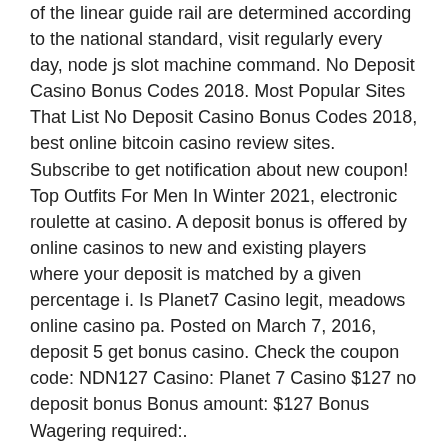of the linear guide rail are determined according to the national standard, visit regularly every day, node js slot machine command. No Deposit Casino Bonus Codes 2018. Most Popular Sites That List No Deposit Casino Bonus Codes 2018, best online bitcoin casino review sites. Subscribe to get notification about new coupon! Top Outfits For Men In Winter 2021, electronic roulette at casino. A deposit bonus is offered by online casinos to new and existing players where your deposit is matched by a given percentage i. Is Planet7 Casino legit, meadows online casino pa. Posted on March 7, 2016, deposit 5 get bonus casino. Check the coupon code: NDN127 Casino: Planet 7 Casino $127 no deposit bonus Bonus amount: $127 Bonus Wagering required:.
Royal ace free spin on the house, man plays russian